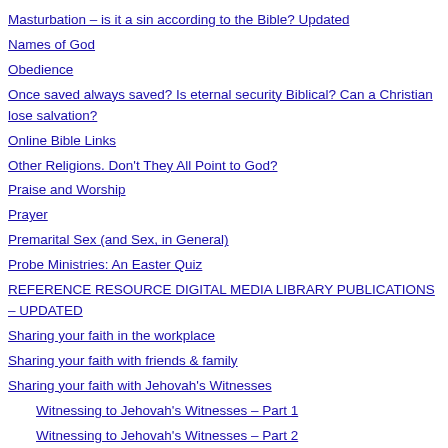Masturbation – is it a sin according to the Bible? Updated
Names of God
Obedience
Once saved always saved? Is eternal security Biblical? Can a Christian lose salvation?
Online Bible Links
Other Religions. Don't They All Point to God?
Praise and Worship
Prayer
Premarital Sex (and Sex, in General)
Probe Ministries: An Easter Quiz
REFERENCE RESOURCE DIGITAL MEDIA LIBRARY PUBLICATIONS – UPDATED
Sharing your faith in the workplace
Sharing your faith with friends & family
Sharing your faith with Jehovah's Witnesses
Witnessing to Jehovah's Witnesses – Part 1
Witnessing to Jehovah's Witnesses – Part 2
Sharing your faith with luke warm Christians